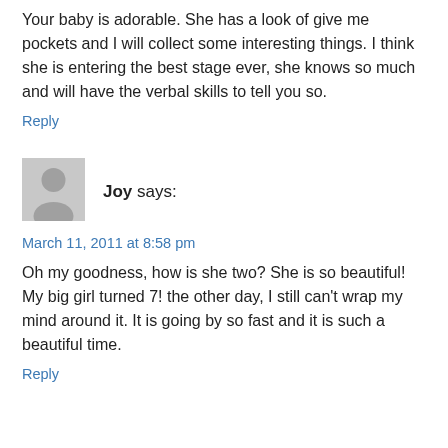Your baby is adorable. She has a look of give me pockets and I will collect some interesting things. I think she is entering the best stage ever, she knows so much and will have the verbal skills to tell you so.
Reply
[Figure (illustration): Generic user avatar icon — grey silhouette of a person on light grey background]
Joy says:
March 11, 2011 at 8:58 pm
Oh my goodness, how is she two? She is so beautiful! My big girl turned 7! the other day, I still can't wrap my mind around it. It is going by so fast and it is such a beautiful time.
Reply